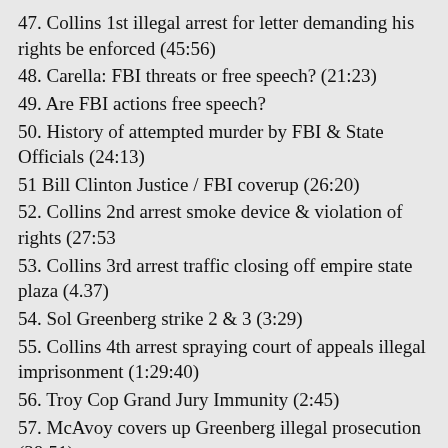47. Collins 1st illegal arrest for letter demanding his rights be enforced (45:56)
48. Carella: FBI threats or free speech? (21:23)
49. Are FBI actions free speech?
50. History of attempted murder by FBI & State Officials (24:13)
51 Bill Clinton Justice / FBI coverup (26:20)
52. Collins 2nd arrest smoke device & violation of rights (27:53
53. Collins 3rd arrest traffic closing off empire state plaza (4.37)
54. Sol Greenberg strike 2 & 3 (3:29)
55. Collins 4th arrest spraying court of appeals illegal imprisonment (1:29:40)
56. Troy Cop Grand Jury Immunity (2:45)
57. McAvoy covers up Greenberg illegal prosecution (38:51)
58. The real Chuck Schumer (1:06:09)